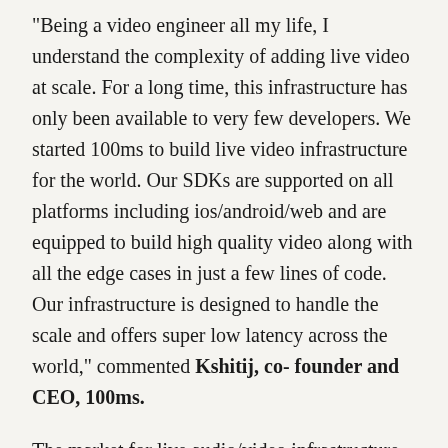"Being a video engineer all my life, I understand the complexity of adding live video at scale. For a long time, this infrastructure has only been available to very few developers. We started 100ms to build live video infrastructure for the world. Our SDKs are supported on all platforms including ios/android/web and are equipped to build high quality video along with all the edge cases in just a few lines of code. Our infrastructure is designed to handle the scale and offers super low latency across the world," commented Kshitij, co- founder and CEO, 100ms.
The market for live audio/video infrastructure services is forecast to grow from $4.2B in 2019 to $17.7B in 2024. The rapid growth is being driven by enterprises across industries who are